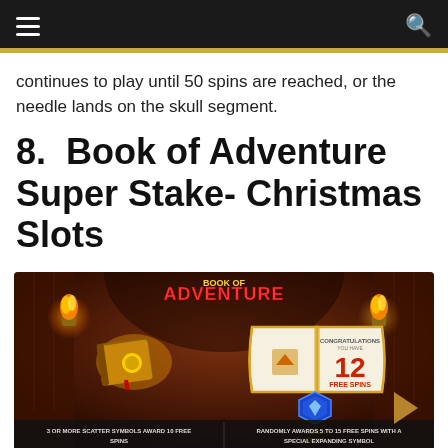☰  🔍
continues to play until 50 spins are reached, or the needle lands on the skull segment.
8. Book of Adventure Super Stake- Christmas Slots
[Figure (screenshot): Book of Adventure slot game screenshot showing two books — a closed golden book on the left glowing with fire, and an open book on the right showing '12 FREE SPINS' with a Super Stake diamond badge. Bottom text reads: '3 OR MORE SCATTER SYMBOLS AWARD 10 FREE SPINS' and 'RANDOMLY AWARDS 5 TO 15 FREE SPINS WITH A SPECIAL EXPANDING SYMBOL'. Red and gold dungeon temple background.]